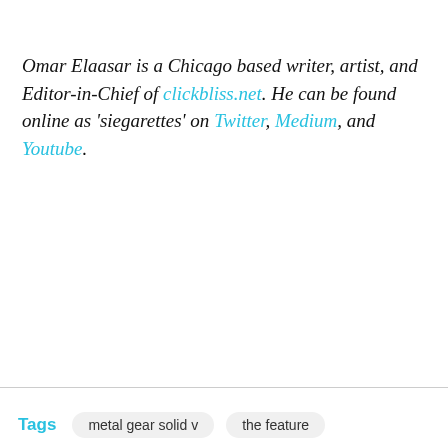Omar Elaasar is a Chicago based writer, artist, and Editor-in-Chief of clickbliss.net. He can be found online as 'siegarettes' on Twitter, Medium, and Youtube.
Tags  metal gear solid v  the feature